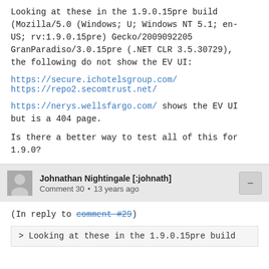Looking at these in the 1.9.0.15pre build (Mozilla/5.0 (Windows; U; Windows NT 5.1; en-US; rv:1.9.0.15pre) Gecko/2009092205 GranParadiso/3.0.15pre (.NET CLR 3.5.30729), the following do not show the EV UI:
https://secure.ichotelsgroup.com/
https://repo2.secomtrust.net/
https://nerys.wellsfargo.com/ shows the EV UI but is a 404 page.
Is there a better way to test all of this for 1.9.0?
Johnathan Nightingale [:johnath]
Comment 30 • 13 years ago
(In reply to comment #29)
> Looking at these in the 1.9.0.15pre build